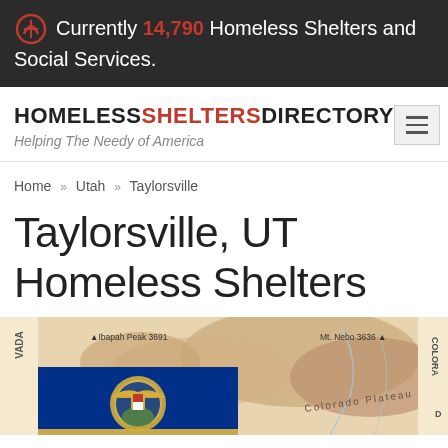Currently 14,790 Homeless Shelters and Social Services.
HOMELESSSHELTERSDIRECTORY — Helping The Needy of America
Home » Utah » Taylorsville
Taylorsville, UT Homeless Shelters
[Figure (map): Map of Utah state showing topography with Colorado Plateau, Mt. Nebo 3636, Ibapah Peak 3691, Nephi, Price labeled. Utah state flag shown in lower left corner of the map image.]